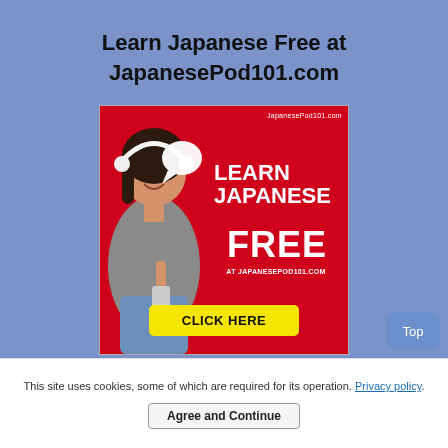Learn Japanese Free at JapanesePod101.com
[Figure (illustration): Advertisement banner for JapanesePod101.com showing a young woman with headphones on a red background with text: LEARN JAPANESE FREE AT JAPANESEPOD101.COM and a yellow CLICK HERE button]
This site uses cookies, some of which are required for its operation. Privacy policy.
Agree and Continue